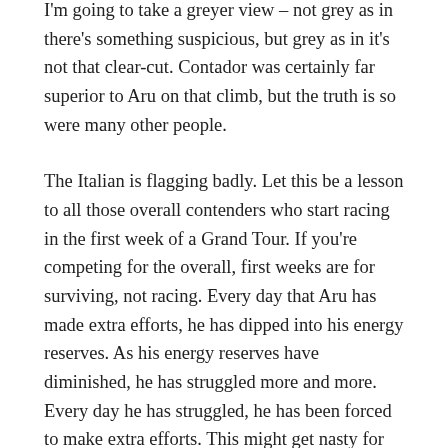I'm going to take a greyer view – not grey as in there's something suspicious, but grey as in it's not that clear-cut. Contador was certainly far superior to Aru on that climb, but the truth is so were many other people.
The Italian is flagging badly. Let this be a lesson to all those overall contenders who start racing in the first week of a Grand Tour. If you're competing for the overall, first weeks are for surviving, not racing. Every day that Aru has made extra efforts, he has dipped into his energy reserves. As his energy reserves have diminished, he has struggled more and more. Every day he has struggled, he has been forced to make extra efforts. This might get nasty for him.
And for all that Contador's ride was majestic, he didn't actually win the stage. That honour again went to Aru's team-mate, Mikel Landa, who also won stage 15. After getting the okay from Aru, Landa